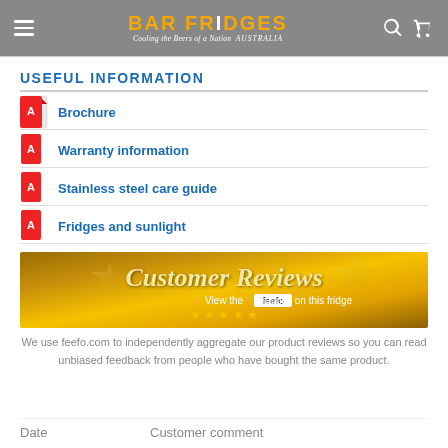BAR FRIDGES — Cooling the Beers of a Nation Australia
USEFUL INFORMATION
Brochure
Warranty information
Stainless steel care guide
Fridges and sunlight
[Figure (illustration): Customer Reviews banner with feefo ratings on this fridge, gold star background]
We use feefo.com to independently aggregate our product reviews so you can read unbiased feedback from people who have bought the same product.
| Date | Customer comment |
| --- | --- |